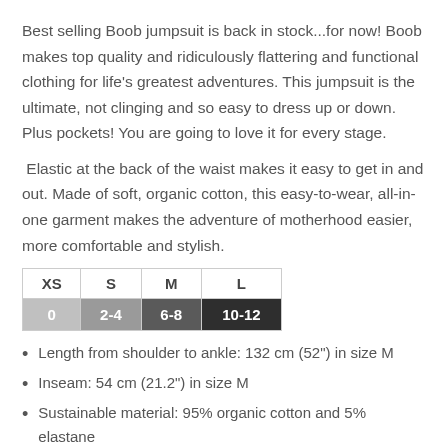Best selling Boob jumpsuit is back in stock...for now! Boob makes top quality and ridiculously flattering and functional clothing for life's greatest adventures. This jumpsuit is the ultimate, not clinging and so easy to dress up or down. Plus pockets! You are going to love it for every stage.
Elastic at the back of the waist makes it easy to get in and out. Made of soft, organic cotton, this easy-to-wear, all-in-one garment makes the adventure of motherhood easier, more comfortable and stylish.
| XS | S | M | L |
| --- | --- | --- | --- |
| 0 | 2-4 | 6-8 | 10-12 |
Length from shoulder to ankle: 132 cm (52") in size M
Inseam: 54 cm (21.2") in size M
Sustainable material: 95% organic cotton and 5% elastane
Machine wash warm (40°)